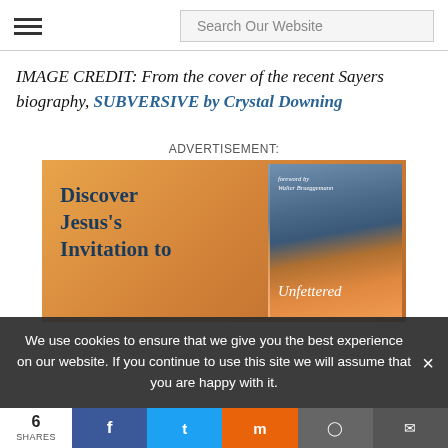Search Our Website
IMAGE CREDIT: From the cover of the recent Sayers biography, SUBVERSIVE by Crystal Downing
ADVERTISEMENT:
[Figure (photo): Advertisement showing a book cover with text 'Discover Jesus's Invitation to' on an orange/warm background, with a second book 'Unfettered' with foreword by Walter Brueggemann visible on the right]
We use cookies to ensure that we give you the best experience on our website. If you continue to use this site we will assume that you are happy with it.
6 SHARES